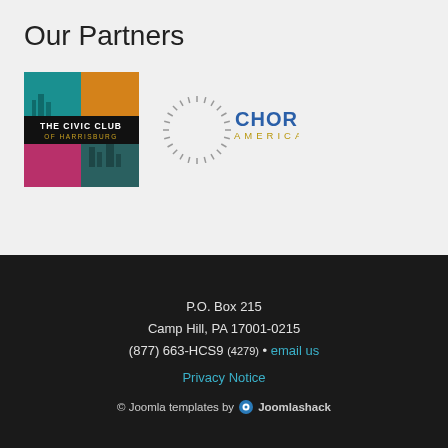Our Partners
[Figure (logo): The Civic Club of Harrisburg logo — colorful collage with teal, orange, pink sections and text 'THE CIVIC CLUB OF HARRISBURG']
[Figure (logo): Chorus America logo — circular sunburst of dots in grey with 'CHORUS AMERICA' text in blue and gold]
P.O. Box 215
Camp Hill, PA 17001-0215
(877) 663-HCS9 (4279) • email us
Privacy Notice
© Joomla templates by Joomlashack